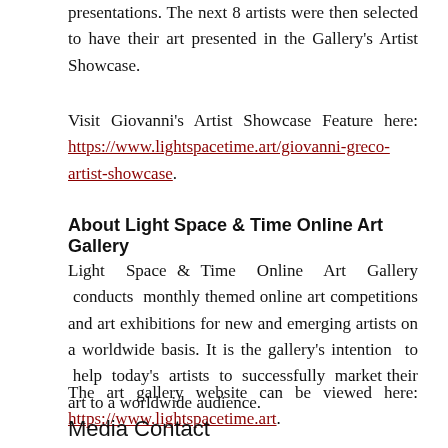presentations. The next 8 artists were then selected to have their art presented in the Gallery's Artist Showcase.
Visit Giovanni's Artist Showcase Feature here: https://www.lightspacetime.art/giovanni-greco-artist-showcase.
About Light Space & Time Online Art Gallery
Light Space & Time Online Art Gallery conducts monthly themed online art competitions and art exhibitions for new and emerging artists on a worldwide basis. It is the gallery's intention to help today's artists to successfully market their art to a worldwide audience.
The art gallery website can be viewed here: https://www.lightspacetime.art.
Media Contact
Company Name: Light Space & Time Online Art Gallery